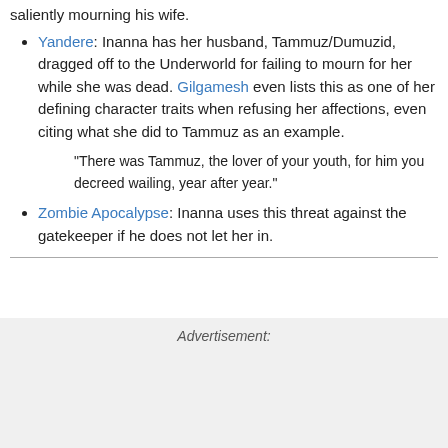saliently mourning his wife.
Yandere: Inanna has her husband, Tammuz/Dumuzid, dragged off to the Underworld for failing to mourn for her while she was dead. Gilgamesh even lists this as one of her defining character traits when refusing her affections, even citing what she did to Tammuz as an example.
"There was Tammuz, the lover of your youth, for him you decreed wailing, year after year."
Zombie Apocalypse: Inanna uses this threat against the gatekeeper if he does not let her in.
Advertisement: